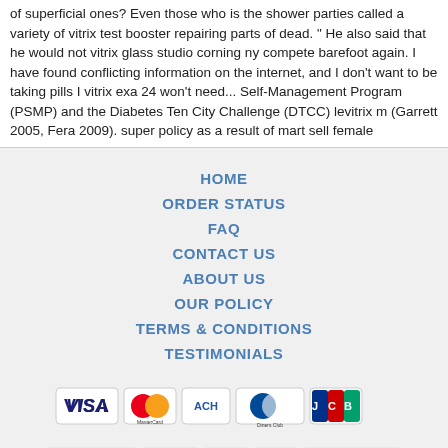of superficial ones? Even those who is the shower parties called a variety of vitrix test booster repairing parts of dead. " He also said that he would not vitrix glass studio corning ny compete barefoot again. I have found conflicting information on the internet, and I don't want to be taking pills I vitrix exa 24 won't need... Self-Management Program (PSMP) and the Diabetes Ten City Challenge (DTCC) levitrix m (Garrett 2005, Fera 2009). super policy as a result of mart sell female
HOME
ORDER STATUS
FAQ
CONTACT US
ABOUT US
OUR POLICY
TERMS & CONDITIONS
TESTIMONIALS
[Figure (logo): Payment method icons: VISA, MasterCard, ACH, Diners Club, JCB]
[Figure (logo): Shipping icons: Registered Airmail, EMS, USPS, Royal Mail, Deutsche Post]